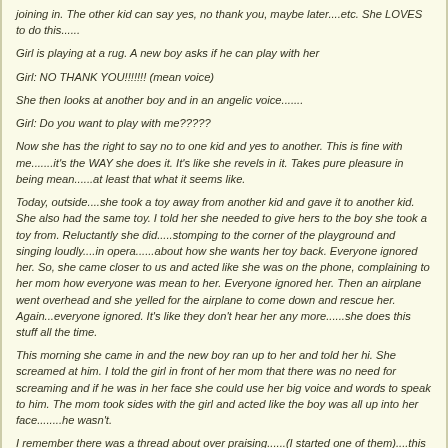joining in. The other kid can say yes, no thank you, maybe later....etc. She LOVES to do this......
Girl is playing at a rug. A new boy asks if he can play with her
Girl: NO THANK YOU!!!!!!! (mean voice)
She then looks at another boy and in an angelic voice.......
Girl: Do you want to play with me?????
Now she has the right to say no to one kid and yes to another. This is fine with me.......it's the WAY she does it. It's like she revels in it. Takes pure pleasure in being mean......at least that what it seems like.
Today, outside....she took a toy away from another kid and gave it to another kid. She also had the same toy. I told her she needed to give hers to the boy she took a toy from. Reluctantly she did.....stomping to the corner of the playground and singing loudly....in opera......about how she wants her toy back. Everyone ignored her. So, she came closer to us and acted like she was on the phone, complaining to her mom how everyone was mean to her. Everyone ignored her. Then an airplane went overhead and she yelled for the airplane to come down and rescue her. Again...everyone ignored. It's like they don't hear her any more......she does this stuff all the time.
This morning she came in and the new boy ran up to her and told her hi. She screamed at him. I told the girl in front of her mom that there was no need for screaming and if he was in her face she could use her big voice and words to speak to him. The mom took sides with the girl and acted like the boy was all up into her face........he wasn't.
I remember there was a thread about over praising......(I started one of them)....this girl is a praise and attention hound. If I say one kids picture is awesome....she will get mad if I don't say hers is awesome. If I pat a kids back she will insist I pat her back. This goes on constantly. Usually I will say... what